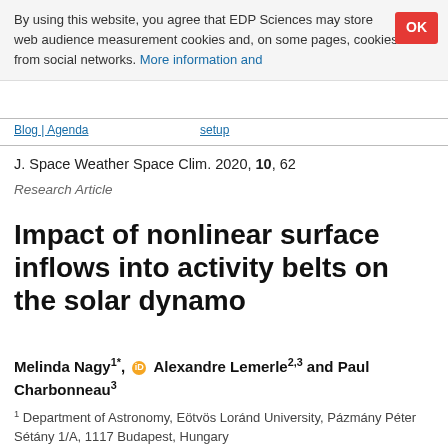By using this website, you agree that EDP Sciences may store web audience measurement cookies and, on some pages, cookies from social networks. More information and
OK
Blog | Agenda | setup
J. Space Weather Space Clim. 2020, 10, 62
Research Article
Impact of nonlinear surface inflows into activity belts on the solar dynamo
Melinda Nagy1*, Alexandre Lemerle2,3 and Paul Charbonneau3
1 Department of Astronomy, Eötvös Loránd University, Pázmány Péter Sétány 1/A, 1117 Budapest, Hungary